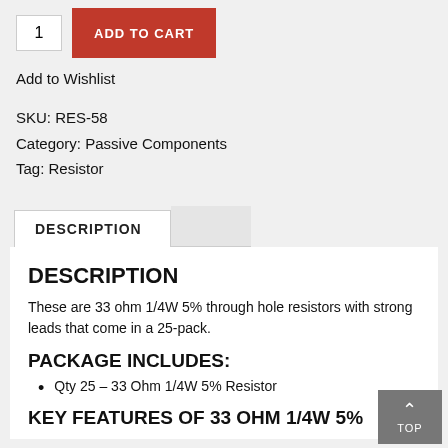[Figure (other): Quantity input box showing '1' and a red 'ADD TO CART' button]
Add to Wishlist
SKU: RES-58
Category: Passive Components
Tag: Resistor
DESCRIPTION
DESCRIPTION
These are 33 ohm 1/4W 5% through hole resistors with strong leads that come in a 25-pack.
PACKAGE INCLUDES:
Qty 25 – 33 Ohm 1/4W 5% Resistor
KEY FEATURES OF 33 OHM 1/4W 5%